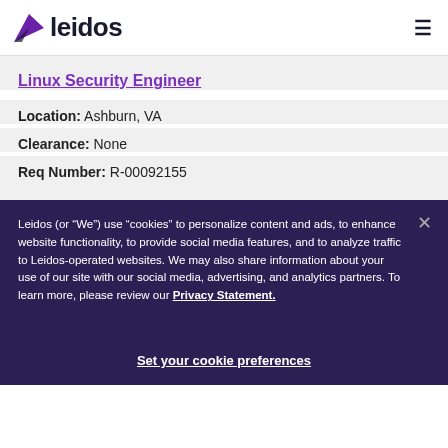leidos
Linux Security Engineer
Location: Ashburn, VA
Clearance: None
Req Number: R-00092155
Leidos (or “We”) use “cookies” to personalize content and ads, to enhance website functionality, to provide social media features, and to analyze traffic to Leidos-operated websites. We may also share information about your use of our site with our social media, advertising, and analytics partners. To learn more, please review our Privacy Statement.
Set your cookie preferences